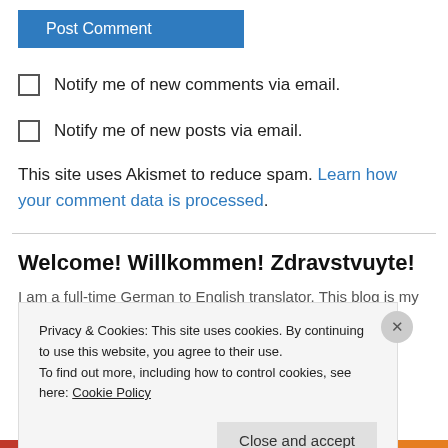[Figure (screenshot): Post Comment button — blue rectangular button with white text]
Notify me of new comments via email.
Notify me of new posts via email.
This site uses Akismet to reduce spam. Learn how your comment data is processed.
Welcome! Willkommen! Zdravstvuyte!
I am a full-time German to English translator. This blog is my creative
Privacy & Cookies: This site uses cookies. By continuing to use this website, you agree to their use.
To find out more, including how to control cookies, see here: Cookie Policy
Close and accept